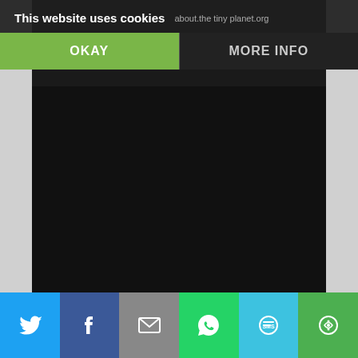This website uses cookies
[Figure (screenshot): Dark content/video area showing a website screenshot with cookie consent banner overlay. The banner has an OKAY button (green) and MORE INFO button (dark). Below is a large dark/black content area. At the bottom is a social share bar with Twitter, Facebook, Email, WhatsApp, SMS, and More icons.]
OKAY
MORE INFO